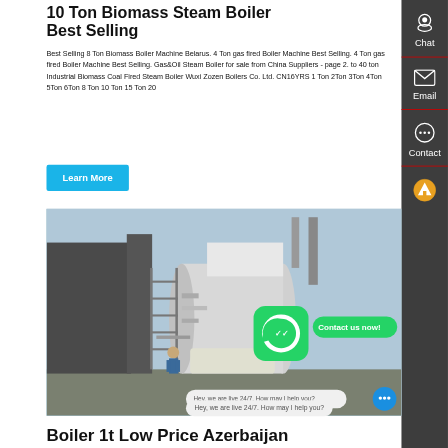10 Ton Biomass Steam Boiler Best Selling
Best Selling 8 Ton Biomass Boiler Machine Belarus. 4 Ton gas fired Boiler Machine Best Selling. 4 Ton gas fired Boiler Machine Best Selling. Gas&Oil Steam Boiler for sale from China Suppliers - page 2. to 40 ton Industrial Biomass Coal Fired Steam Boiler Wuxi Zozen Boilers Co. Ltd. CN16YRS 1 Ton 2Ton 3Ton 4Ton 5Ton 6Ton 8 Ton 10 Ton 15 Ton 20
Learn More
[Figure (photo): Industrial biomass steam boiler installation at a facility, with scaffolding and workers visible, large cylindrical boiler with piping]
Hey, we are live 24/7. How may I help you?
Boiler 1t Low Price Azerbaijan